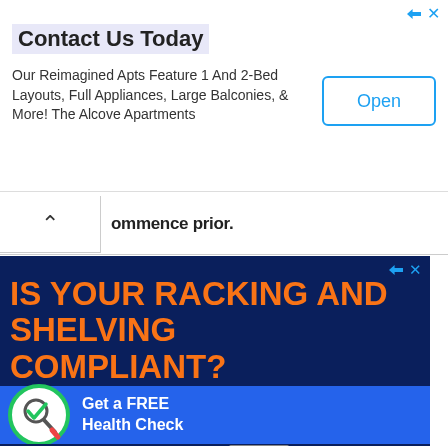Contact Us Today
Our Reimagined Apts Feature 1 And 2-Bed Layouts, Full Appliances, Large Balconies, & More! The Alcove Apartments
Open
ommence prior.
[Figure (infographic): Auckland Racking and Shelving advertisement. Dark navy background with large orange bold text reading IS YOUR RACKING AND SHELVING COMPLIANT? Below is a lighter blue banner with a magnifying glass checkmark icon and text Get a FREE Health Check. At bottom is the Auckland Racking & Shelving logo with colored bar stripes.]
IS YOUR RACKING AND SHELVING COMPLIANT?
Get a FREE Health Check
AUCKLAND RACKING & SHELVING